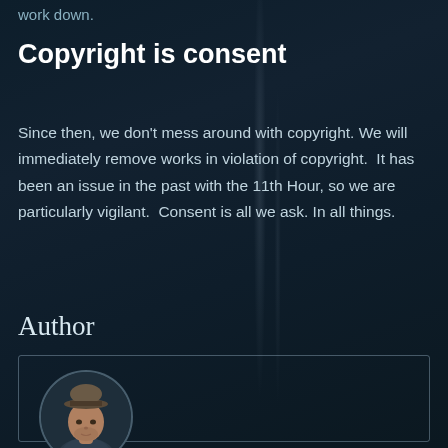work down.
Copyright is consent
Since then, we don't mess around with copyright. We will immediately remove works in violation of copyright.  It has been an issue in the past with the 11th Hour, so we are particularly vigilant.  Consent is all we ask. In all things.
Author
[Figure (photo): Circular portrait photo of a man wearing a hat, shown from shoulders up, dark background.]